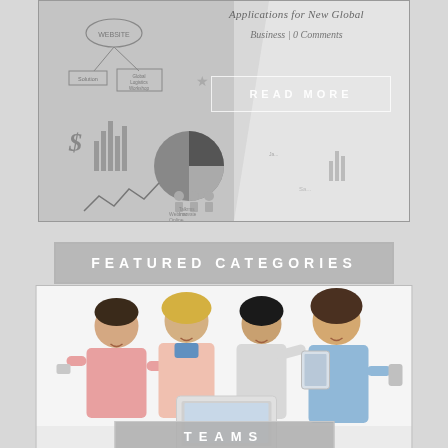[Figure (screenshot): A business/logistics diagram with flowchart elements, pie chart, bar graphs, dollar sign, people icons, and text labels including 'Solution', 'Global Logistics Workshop Support', 'Webinar Online Conference', with a semi-transparent overlay and a 'READ MORE' button overlay]
Business | 0 Comments
READ MORE
FEATURED CATEGORIES
[Figure (photo): Four business professionals (two men and two women) gathered around a laptop, smiling and collaborating, one holding a tablet and another holding a phone]
TEAMS